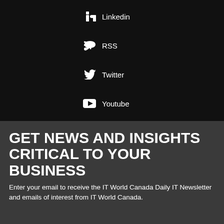Linkedin
RSS
Twitter
Youtube
GET NEWS AND INSIGHTS CRITICAL TO YOUR BUSINESS
Enter your email to receive the IT World Canada Daily IT Newsletter and emails of interest from IT World Canada.